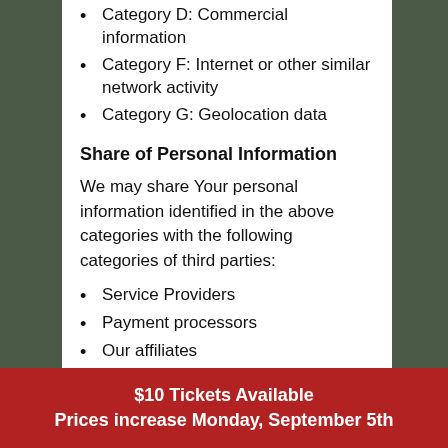Category D: Commercial information
Category F: Internet or other similar network activity
Category G: Geolocation data
Share of Personal Information
We may share Your personal information identified in the above categories with the following categories of third parties:
Service Providers
Payment processors
Our affiliates
Our business partners
Third party vendors to whom You or Your agents authorize Us to disclose Your personal information in connection
$10 Tickets Available
Prices increase Monday, September 5th